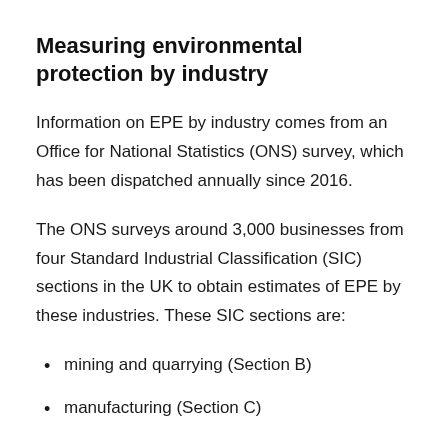Measuring environmental protection by industry
Information on EPE by industry comes from an Office for National Statistics (ONS) survey, which has been dispatched annually since 2016.
The ONS surveys around 3,000 businesses from four Standard Industrial Classification (SIC) sections in the UK to obtain estimates of EPE by these industries. These SIC sections are:
mining and quarrying (Section B)
manufacturing (Section C)